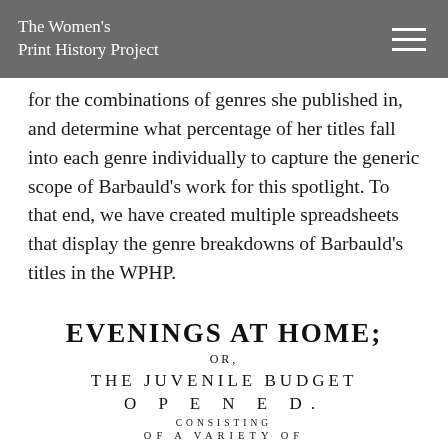The Women's Print History Project
for the combinations of genres she published in, and determine what percentage of her titles fall into each genre individually to capture the generic scope of Barbauld's work for this spotlight. To that end, we have created multiple spreadsheets that display the genre breakdowns of Barbauld's titles in the WPHP.
EVENINGS AT HOME;
OR,
THE JUVENILE BUDGET
O P E N E D.
CONSISTING
OF A VARIETY OF